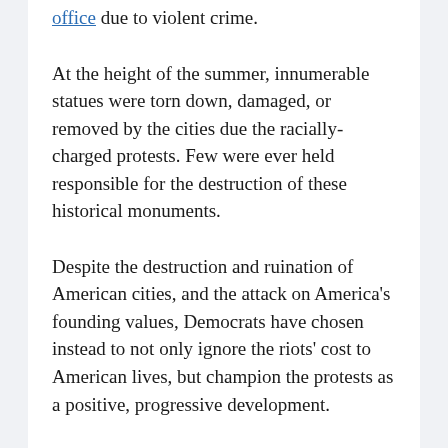office due to violent crime.
At the height of the summer, innumerable statues were torn down, damaged, or removed by the cities due the racially-charged protests. Few were ever held responsible for the destruction of these historical monuments.
Despite the destruction and ruination of American cities, and the attack on America's founding values, Democrats have chosen instead to not only ignore the riots' cost to American lives, but champion the protests as a positive, progressive development.
Approximately $90 million was given to Black Lives Matter, and millions more have been spent on reshaping American culture through